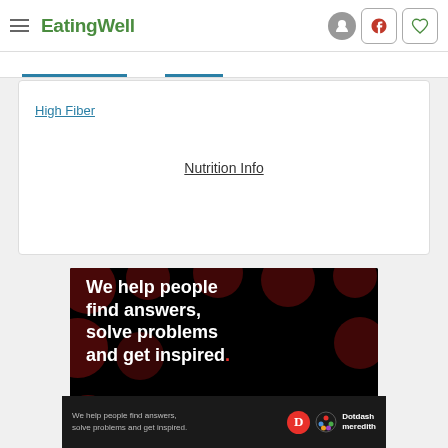EatingWell
High Fiber
Nutrition Info
[Figure (screenshot): Advertisement with black background and dark red polka dots. White bold text reads: 'We help people find answers, solve problems and get inspired.' with a red period. Partial 'LEARN MORE' text visible at bottom.]
We help people find answers, solve problems and get inspired. Dotdash meredith